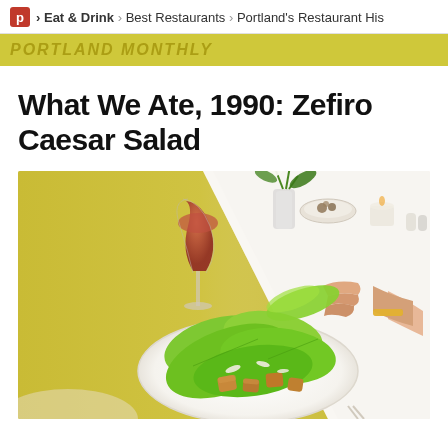P > Eat & Drink > Best Restaurants > Portland's Restaurant His
What We Ate, 1990: Zefiro Caesar Salad
[Figure (photo): Overhead photo of a Caesar salad on a white plate with large romaine lettuce leaves and croutons, a hand reaching in to pick up a leaf, a glass of red wine, flowers in a vase, candles, on a white tablecloth restaurant table. Left portion of image has a golden-yellow gradient background.]